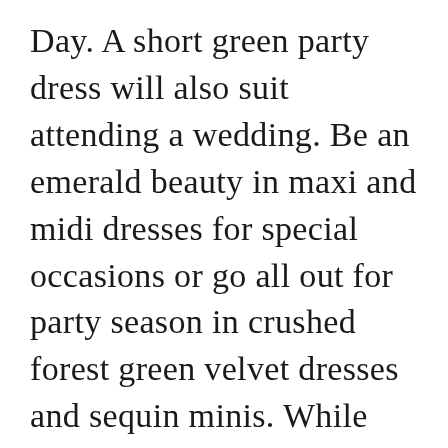Day. A short green party dress will also suit attending a wedding. Be an emerald beauty in maxi and midi dresses for special occasions or go all out for party season in crushed forest green velvet dresses and sequin minis. While sage is our favourite hue there are so many shades of green you can add to your wardrobe for that pop of springtime colour it deserves. Green silk dress short. As well as homecoming and prom dresses we also have a wide selection of other formal dresses including party